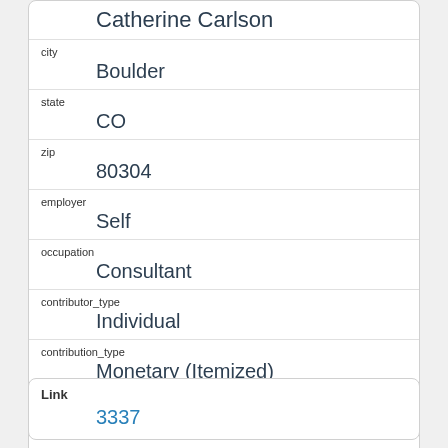| name | Catherine  Carlson |
| city | Boulder |
| state | CO |
| zip | 80304 |
| employer | Self |
| occupation | Consultant |
| contributor_type | Individual |
| contribution_type | Monetary (Itemized) |
| explanation |  |
| Link | 3337 |